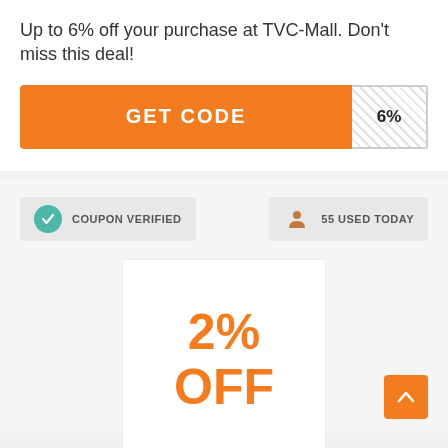Up to 6% off your purchase at TVC-Mall. Don't miss this deal!
[Figure (infographic): Orange GET CODE button with hatched white reveal panel showing '6%' on the right side]
[Figure (infographic): COUPON VERIFIED badge with teal checkmark icon on left, and 55 USED TODAY badge with orange user icon on right]
[Figure (infographic): White box showing discount: '2%' on first line and 'OFF' on second line, both in orange bold text]
[Figure (infographic): Orange scroll-to-top button with upward chevron arrow, bottom right corner]